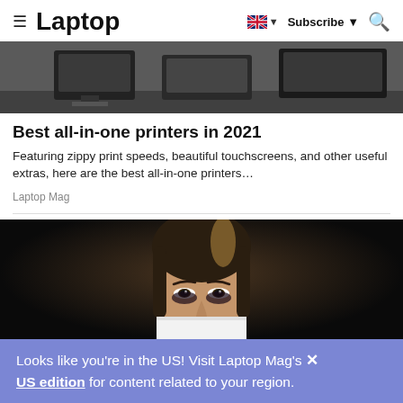Laptop — Subscribe
[Figure (photo): Partial view of printers/laptops on a desk surface, dark background]
Best all-in-one printers in 2021
Featuring zippy print speeds, beautiful touchscreens, and other useful extras, here are the best all-in-one printers…
Laptop Mag
[Figure (photo): Portrait of a woman with dark eye makeup holding a white piece of paper in front of the lower half of her face, dark background]
Looks like you're in the US! Visit Laptop Mag's US edition for content related to your region.